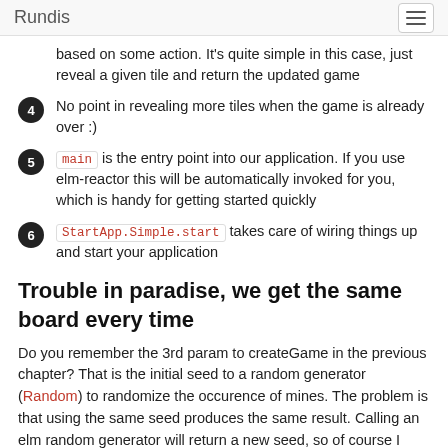Rundis
based on some action. It's quite simple in this case, just reveal a given tile and return the updated game
4 No point in revealing more tiles when the game is already over :)
5 main is the entry point into our application. If you use elm-reactor this will be automatically invoked for you, which is handy for getting started quickly
6 StartApp.Simple.start takes care of wiring things up and start your application
Trouble in paradise, we get the same board every time
Do you remember the 3rd param to createGame in the previous chapter? That is the initial seed to a random generator (Random) to randomize the occurence of mines. The problem is that using the same seed produces the same result. Calling an elm random generator will return a new seed, so of course I